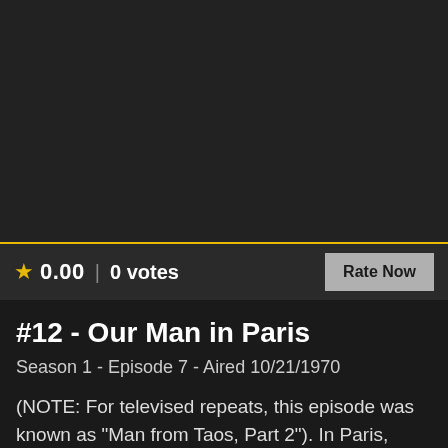[Figure (photo): Dark/black image area representing episode thumbnail placeholder]
★ 0.00 | 0 votes
Rate Now
#12 - Our Man in Paris
Season 1 - Episode 7 - Aired 10/21/1970
(NOTE: For televised repeats, this episode was known as "Man from Taos, Part 2"). In Paris, McCloud and a stewardess try to locate a mysterious arms smuggler with ties to an